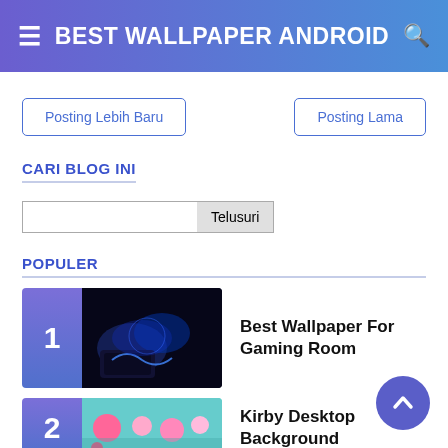BEST WALLPAPER ANDROID
Posting Lebih Baru
Posting Lama
CARI BLOG INI
Telusuri
POPULER
Best Wallpaper For Gaming Room
Kirby Desktop Background